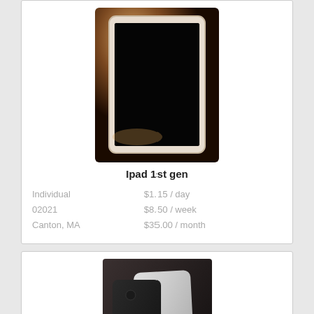[Figure (photo): Photo of an iPad 1st generation, white/silver frame, dark screen, on a wooden surface with warm lighting]
Ipad 1st gen
Individual   $1.15 / day
02021   $8.50 / week
Canton, MA   $35.00 / month
[Figure (photo): Photo of an iPhone 5s in silver/white, with a black phone case beside it, on a dark background]
iPhone 5s
Individual   $1.25 / day
02021   $10.00 / week